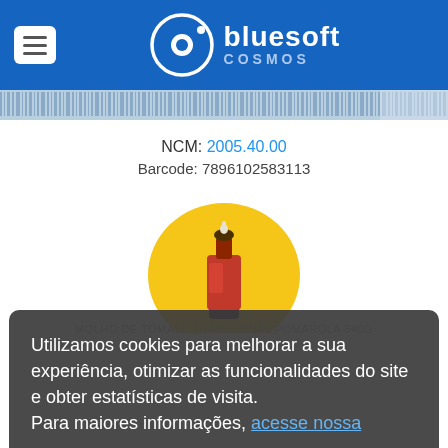[Figure (logo): Bluesoft Cosmos logo — circular orbit icon in white on blue background, with text 'bluesoft' in white and 'COSMOS' in light blue below]
[Figure (other): Barcode strip — horizontal decorative barcode bar pattern in light blue]
NCM: 2005.40.00
Barcode: 7896102583113
[Figure (illustration): Product image: a bottle of tomato sauce on a golden/yellow circular background]
MOLHO DE TOMATE TRADICIONAL POMAROLA 340G
Utilizamos cookies para melhorar a sua experiência, otimizar as funcionalidades do site e obter estatísticas de visita. Para maiores informações, acesse nossa
Para maiores informações, acesse nossa